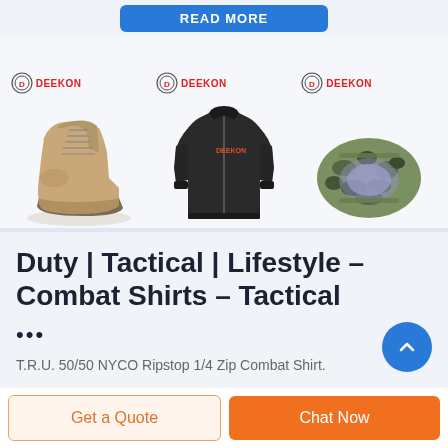[Figure (screenshot): READ MORE blue button at top of page]
[Figure (photo): Three product images with DEEKON logo: a tan tactical boot, a dark jacket/shirt, and a camouflage sleeping bag/roll]
Duty | Tactical | Lifestyle - Combat Shirts - Tactical
...
T.R.U. 50/50 NYCO Ripstop 1/4 Zip Combat Shirt.
Get a Quote
Chat Now